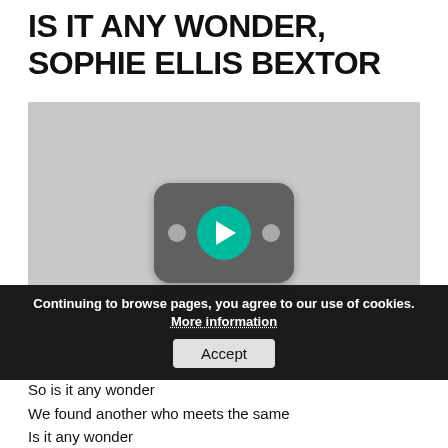IS IT ANY WONDER, SOPHIE ELLIS BEXTOR
[Figure (screenshot): Embedded video player thumbnail showing a YouTube-style play button with teal/green play circle on a gray rounded rectangle background, against a light gray video area]
Continuing to browse pages, you agree to our use of cookies. More information
Accept
So is it any wonder
We found another who meets the same
Is it any wonder